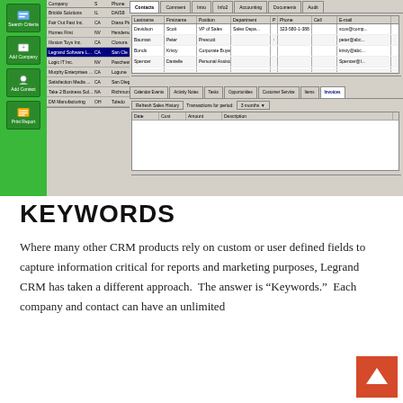[Figure (screenshot): CRM software screenshot showing a green sidebar with navigation icons (Search Criteria, Add Company, Add Contact, Print Report), a company list panel with multiple company names and state abbreviations, and a main panel with tabbed interface showing Contacts tab with a grid of contact information (Lastname, Firstname, Position, Department, Phone, Cell, Email) with entries like Davidson/Scott/VP of Sales, Bauman/Peter, Bonds/Kristy/Corporate Buyer, Spencer/Danielle/Personal Assistant. Lower section shows Calendar Events, Activity Notes, Tasks, Opportunities, Customer Service, Items, Invoices tabs with an Invoices panel showing Refresh Sales History, Transactions for period: 3 months dropdown, and a grid with Date, Cust, Amount, Description columns.]
KEYWORDS
Where many other CRM products rely on custom or user defined fields to capture information critical for reports and marketing purposes, Legrand CRM has taken a different approach.  The answer is "Keywords."  Each company and contact can have an unlimited